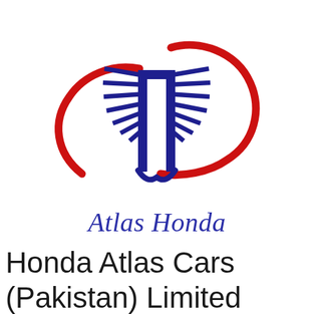[Figure (logo): Atlas Honda logo: stylized winged/feathered emblem in dark navy blue with a red swooping elliptical arc surrounding it]
Atlas Honda
Honda Atlas Cars (Pakistan) Limited (HCAR)